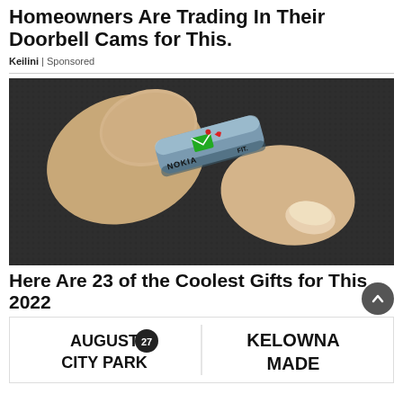Homeowners Are Trading In Their Doorbell Cams for This.
Keilini | Sponsored
[Figure (photo): Close-up photo of a finger wearing a small Nokia FIT wearable ring device with green envelope and red phone icons on it, resting on a dark textured surface.]
Here Are 23 of the Coolest Gifts for This 2022
[Figure (other): Advertisement banner: AUGUST 27 CITY PARK | KELOWNA MADE]